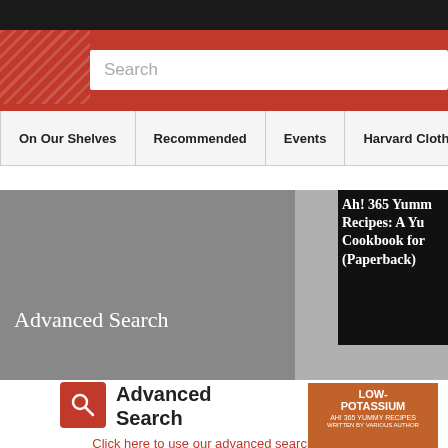Search
On Our Shelves | Recommended | Events | Harvard Clothing, Gif...
[Figure (screenshot): Advanced Search banner with gray background and book title overlay: Ah! 365 Yummy Recipes: A Yu... Cookbook for... (Paperback)]
Advanced Search
Click here to use our advanced search.
[Figure (photo): Book cover: LOW-POTASSIUM, AH! 365 YUMMY RECIPES, written by various author]